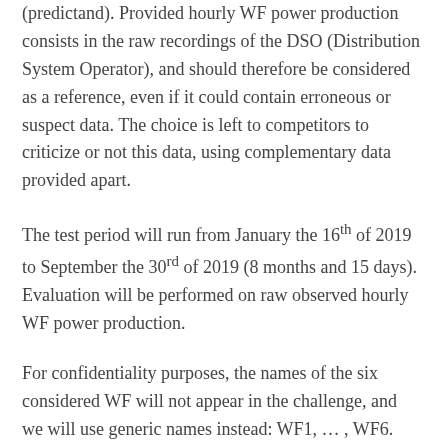(predictand). Provided hourly WF power production consists in the raw recordings of the DSO (Distribution System Operator), and should therefore be considered as a reference, even if it could contain erroneous or suspect data. The choice is left to competitors to criticize or not this data, using complementary data provided apart.
The test period will run from January the 16th of 2019 to September the 30rd of 2019 (8 months and 15 days). Evaluation will be performed on raw observed hourly WF power production.
For confidentiality purposes, the names of the six considered WF will not appear in the challenge, and we will use generic names instead: WF1, ... , WF6. For similar reasons,